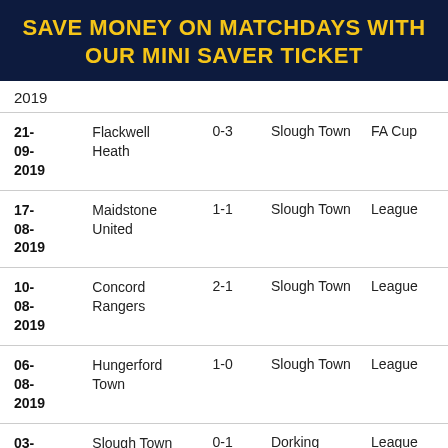SAVE MONEY ON MATCHDAYS WITH OUR MINI SAVER TICKET
| Date | Team | Score | Opponent | Competition |
| --- | --- | --- | --- | --- |
| 2019 |  |  |  |  |
| 21-09-2019 | Flackwell Heath | 0-3 | Slough Town | FA Cup |
| 17-08-2019 | Maidstone United | 1-1 | Slough Town | League |
| 10-08-2019 | Concord Rangers | 2-1 | Slough Town | League |
| 06-08-2019 | Hungerford Town | 1-0 | Slough Town | League |
| 03- | Slough Town | 0-1 | Dorking | League |